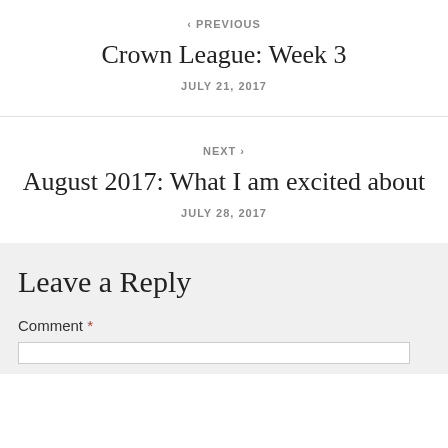‹ PREVIOUS
Crown League: Week 3
JULY 21, 2017
NEXT ›
August 2017: What I am excited about
JULY 28, 2017
Leave a Reply
Comment *